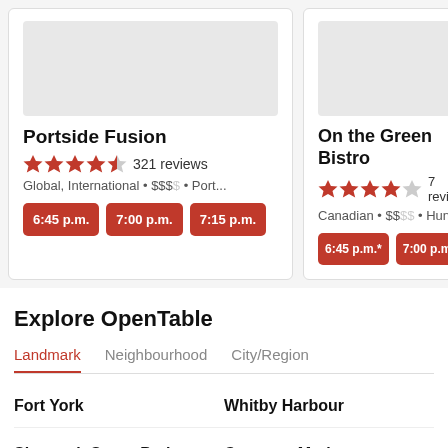[Figure (screenshot): Restaurant card for Portside Fusion showing image placeholder, 4.5 star rating, 321 reviews, Global International cuisine, $$$$, Port..., with time buttons 6:45 p.m., 7:00 p.m., 7:15 p.m.]
[Figure (screenshot): Restaurant card for On the Green Bistro showing image placeholder, 4 star rating, 7 reviews, Canadian cuisine, $$$$, Huntsville, with time buttons 6:45 p.m.*, 7:00 p.m.*]
Explore OpenTable
Landmark (active tab)
Neighbourhood
City/Region
Fort York
Whitby Harbour
Sixteenth Street Park
Cameron Marina Incorporated